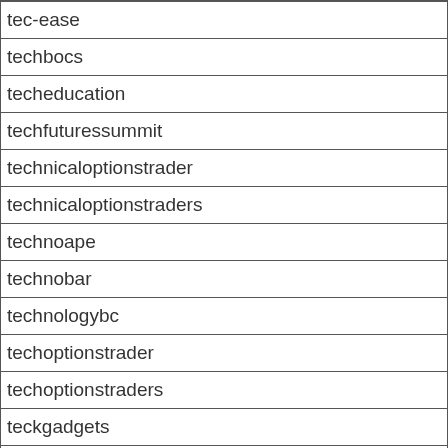| tec-ease |
| techbocs |
| techeducation |
| techfuturessummit |
| technicaloptionstrader |
| technicaloptionstraders |
| technoape |
| technobar |
| technologybc |
| techoptionstrader |
| techoptionstraders |
| teckgadgets |
| teelane |
| teenbikini |
| teenmamatales |
| teeohbeauty |